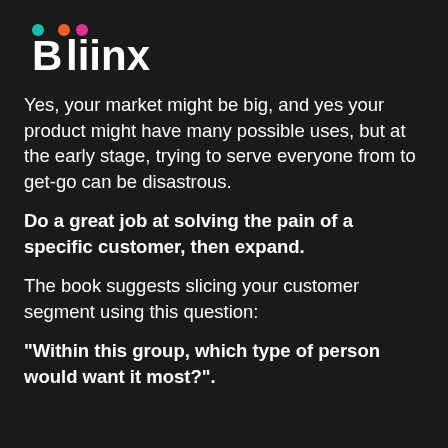[Figure (logo): Bliinx logo with colorful dots (teal, orange, pink) above the letter B, followed by 'liinx' in bold white text on dark background]
Yes, your market might be big, and yes your product might have many possible uses, but at the early stage, trying to serve everyone from to get-go can be disastrous.
Do a great job at solving the pain of a specific customer, then expand.
The book suggests slicing your customer segment using this question:
"Within this group, which type of person would want it most?".